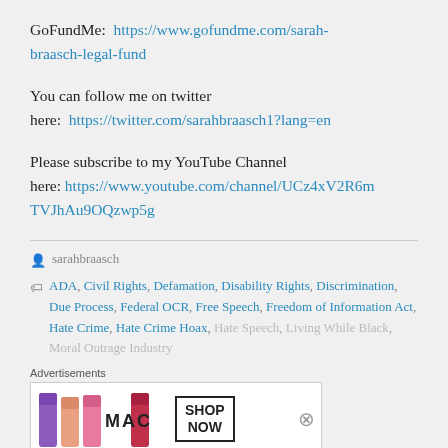GoFundMe:  https://www.gofundme.com/sarah-braasch-legal-fund
You can follow me on twitter here:  https://twitter.com/sarahbraasch1?lang=en
Please subscribe to my YouTube Channel here: https://www.youtube.com/channel/UCz4xV2R6mTVJhAu9OQzwp5g
sarahbraasch
ADA, Civil Rights, Defamation, Disability Rights, Discrimination, Due Process, Federal OCR, Free Speech, Freedom of Information Act, Hate Crime, Hate Crime Hoax, Hate Speech, Living While Black, Moral Outrage Industry
Advertisements
[Figure (photo): MAC Cosmetics advertisement showing lipsticks in purple, peach and pink colors beside the MAC logo and a SHOP NOW button]